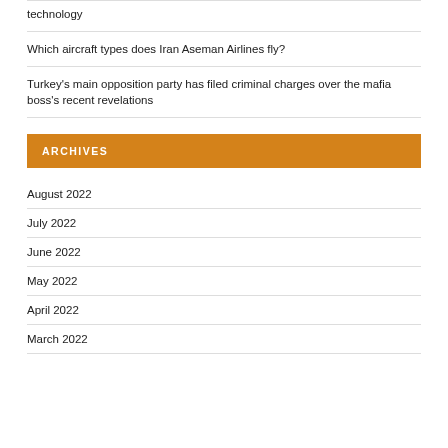technology
Which aircraft types does Iran Aseman Airlines fly?
Turkey's main opposition party has filed criminal charges over the mafia boss's recent revelations
ARCHIVES
August 2022
July 2022
June 2022
May 2022
April 2022
March 2022